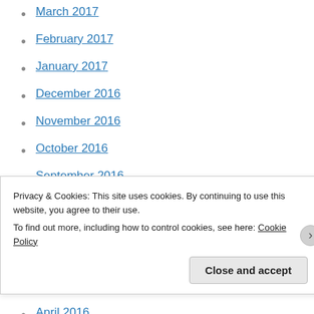March 2017
February 2017
January 2017
December 2016
November 2016
October 2016
September 2016
August 2016
July 2016
June 2016
May 2016
April 2016
Privacy & Cookies: This site uses cookies. By continuing to use this website, you agree to their use. To find out more, including how to control cookies, see here: Cookie Policy